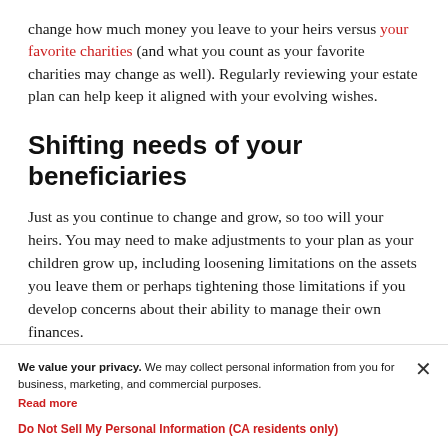change how much money you leave to your heirs versus your favorite charities (and what you count as your favorite charities may change as well). Regularly reviewing your estate plan can help keep it aligned with your evolving wishes.
Shifting needs of your beneficiaries
Just as you continue to change and grow, so too will your heirs. You may need to make adjustments to your plan as your children grow up, including loosening limitations on the assets you leave them or perhaps tightening those limitations if you develop concerns about their ability to manage their own finances.
We value your privacy. We may collect personal information from you for business, marketing, and commercial purposes. Read more
Do Not Sell My Personal Information (CA residents only)